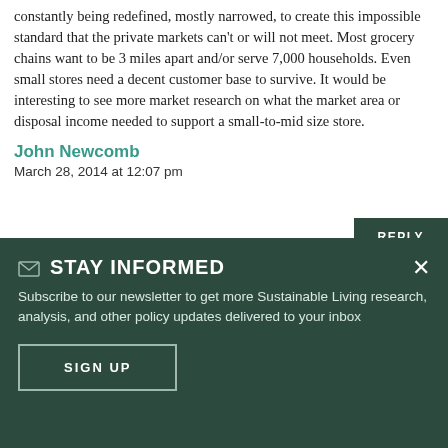constantly being redefined, mostly narrowed, to create this impossible standard that the private markets can't or will not meet. Most grocery chains want to be 3 miles apart and/or serve 7,000 households. Even small stores need a decent customer base to survive. It would be interesting to see more market research on what the market area or disposal income needed to support a small-to-mid size store.
John Newcomb
March 28, 2014 at 12:07 pm
REPLY
STAY INFORMED
Subscribe to our newsletter to get more Sustainable Living research, analysis, and other policy updates delivered to your inbox
SIGN UP